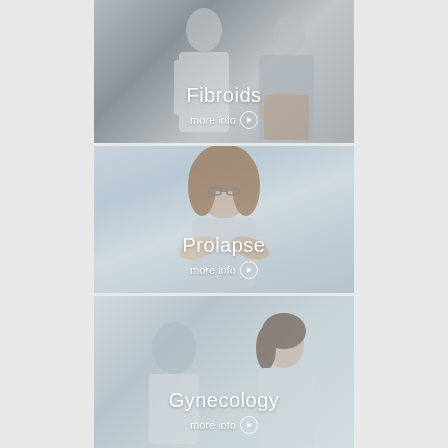[Figure (photo): Photo of a doctor consulting with a patient, with text overlay 'Fibroids' and 'more info' button with arrow icon]
[Figure (photo): Photo of a smiling woman with glasses and arms crossed, with text overlay 'Prolapse' and 'more info' button with arrow icon]
[Figure (photo): Photo of a doctor consulting with a young female patient, with text overlay 'Gynecology' and 'more info' button with arrow icon]